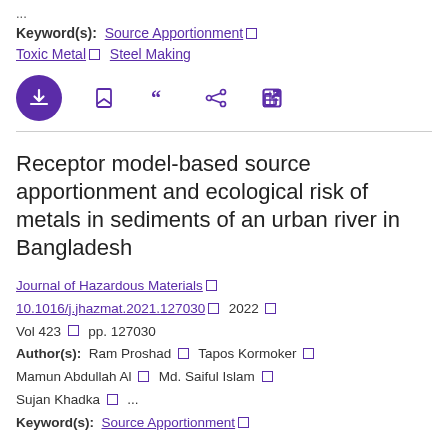...
Keyword(s): Source Apportionment □ Toxic Metal □ Steel Making
[Figure (screenshot): Toolbar with download (purple circle), bookmark, cite, share, and external link icons]
Receptor model-based source apportionment and ecological risk of metals in sediments of an urban river in Bangladesh
Journal of Hazardous Materials □
10.1016/j.jhazmat.2021.127030 □ 2022 □
Vol 423 □ pp. 127030
Author(s): Ram Proshad □ Tapos Kormoker □ Mamun Abdullah Al □ Md. Saiful Islam □ Sujan Khadka □ ...
Keyword(s): Source Apportionment □